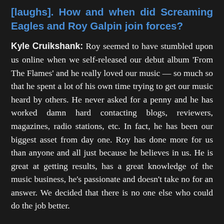[laughs]. How and when did Screaming Eagles and Roy Galpin join forces?
Kyle Cruikshank: Roy seemed to have stumbled upon us online when we self-released our debut album 'From The Flames' and he really loved our music — so much so that he spent a lot of his own time trying to get our music heard by others. He never asked for a penny and he has worked damn hard contacting blogs, reviewers, magazines, radio stations, etc. In fact, he has been our biggest asset from day one. Roy has done more for us than anyone and all just because he believes in us. He is great at getting results, has a great knowledge of the music business, he's passionate and doesn't take no for an answer. We decided that there is no one else who could do the job better.